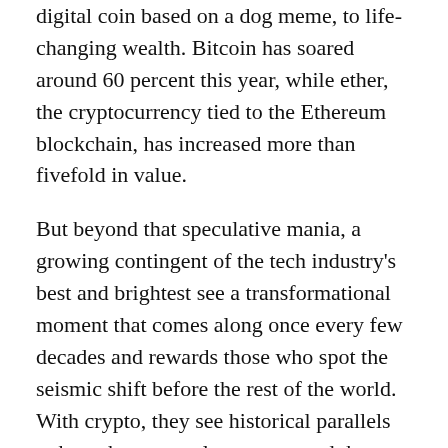digital coin based on a dog meme, to life-changing wealth. Bitcoin has soared around 60 percent this year, while ether, the cryptocurrency tied to the Ethereum blockchain, has increased more than fivefold in value.
But beyond that speculative mania, a growing contingent of the tech industry's best and brightest see a transformational moment that comes along once every few decades and rewards those who spot the seismic shift before the rest of the world. With crypto, they see historical parallels to how the personal computer and the internet were once ridiculed, only to upend the status quo and mint a new generation of billionaires.
Investors, too, have flooded in. They have poured more than $28 billion into global crypto and blockchain start-ups this year, four times more than in 2020, according to PitchBook, a firm that tracks private investments. More than $3 billion has